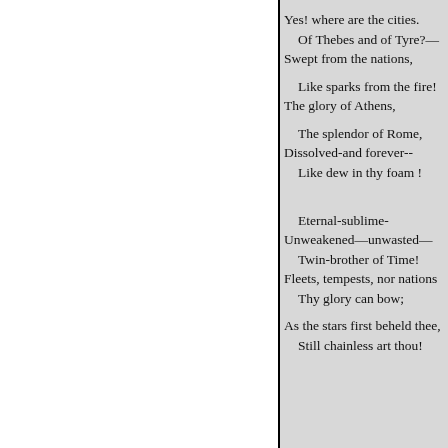Yes! where are the cities.
 Of Thebes and of Tyre?—
Swept from the nations,

 Like sparks from the fire!
The glory of Athens,

 The splendor of Rome,
Dissolved-and forever--
 Like dew in thy foam !


Eternal-sublime-
Unweakened—unwasted—
 Twin-brother of Time!
Fleets, tempests, nor nations
 Thy glory can bow;

As the stars first beheld thee,
 Still chainless art thou!